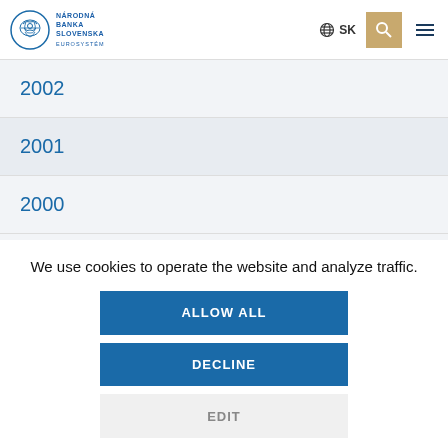Národná Banka Slovenska Eurosystém
2002
2001
2000
1999
We use cookies to operate the website and analyze traffic.
ALLOW ALL
DECLINE
EDIT